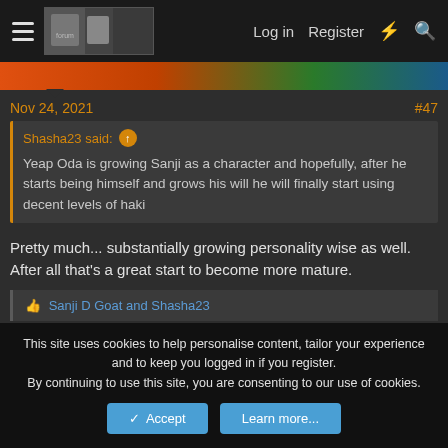Log in  Register
Nov 24, 2021  #47
Shasha23 said: ↑
Yeap Oda is growing Sanji as a character and hopefully, after he starts being himself and grows his will he will finally start using decent levels of haki
Pretty much... substantially growing personality wise as well. After all that's a great start to become more mature.
👍 Sanji D Goat and Shasha23
Ask D question
This site uses cookies to help personalise content, tailor your experience and to keep you logged in if you register.
By continuing to use this site, you are consenting to our use of cookies.
✓ Accept   Learn more...